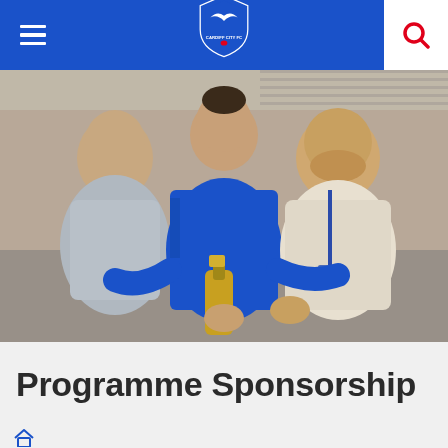Cardiff City FC navigation bar with hamburger menu, club logo, and search icon
[Figure (photo): Three men posing together indoors. The man in the centre is wearing a blue Cardiff City FC Adidas training kit and holding a bottle of champagne. The two men on either side are wearing casual clothes, one in a light blue shirt and one in a cream jumper with a blue lanyard.]
Programme Sponsorship